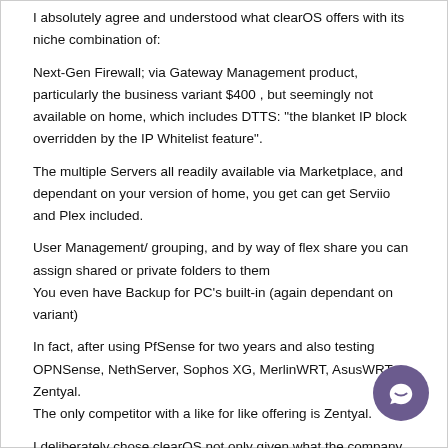I absolutely agree and understood what clearOS offers with its niche combination of:
Next-Gen Firewall; via Gateway Management product, particularly the business variant $400 , but seemingly not available on home, which includes DTTS: "the blanket IP block overridden by the IP Whitelist feature".
The multiple Servers all readily available via Marketplace, and dependant on your version of home, you get can get Serviio and Plex included.
User Management/ grouping, and by way of flex share you can assign shared or private folders to them
You even have Backup for PC's built-in (again dependant on variant)
In fact, after using PfSense for two years and also testing OPNSense, NethServer, Sophos XG, MerlinWRT, AsusWRT, Zentyal.
The only competitor with a like for like offering is Zentyal.
I deliberately chose clearOS not only given what the company stands for, but it